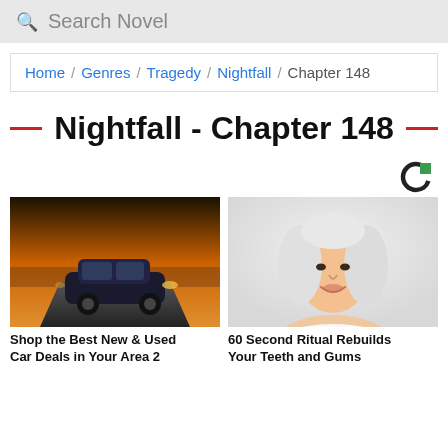Search Novel
Home / Genres / Tragedy / Nightfall / Chapter 148
Nightfall - Chapter 148
[Figure (logo): Circular C logo with green square accent, ad network branding]
[Figure (photo): A dark SUV car driving on a coastal road at sunset]
[Figure (photo): A smiling woman with white/silver hair against a white background]
Shop the Best New & Used Car Deals in Your Area 2
60 Second Ritual Rebuilds Your Teeth and Gums